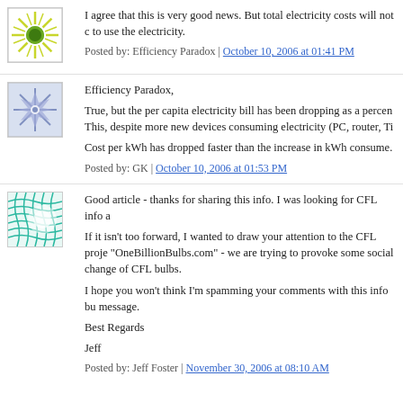[Figure (illustration): Green sun/starburst avatar icon with yellow-green rays and dark green center circle]
I agree that this is very good news. But total electricity costs will not c to use the electricity.
Posted by: Efficiency Paradox | October 10, 2006 at 01:41 PM
[Figure (illustration): Blue/silver geometric star/snowflake pattern avatar on light blue background]
Efficiency Paradox,
True, but the per capita electricity bill has been dropping as a percen This, despite more new devices consuming electricity (PC, router, Ti
Cost per kWh has dropped faster than the increase in kWh consume.
Posted by: GK | October 10, 2006 at 01:53 PM
[Figure (illustration): Teal/green wavy grid pattern avatar icon]
Good article - thanks for sharing this info. I was looking for CFL info a
If it isn't too forward, I wanted to draw your attention to the CFL proje "OneBillionBulbs.com" - we are trying to provoke some social change of CFL bulbs.
I hope you won't think I'm spamming your comments with this info bu message.
Best Regards
Jeff
Posted by: Jeff Foster | November 30, 2006 at 08:10 AM